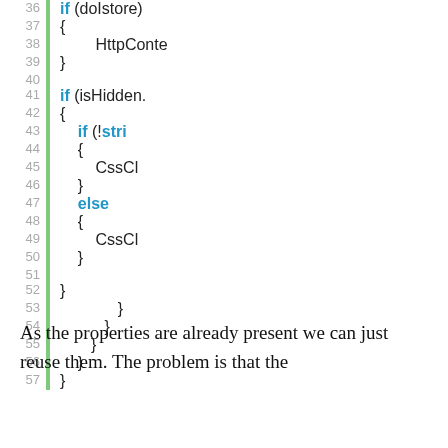[Figure (screenshot): Code snippet showing lines 36-57 of a C# or similar language code block with keywords if, else highlighted in blue and curly braces, with a green vertical gutter bar on the left and gray line numbers.]
As the properties are already present we can just reuse them. The problem is that the